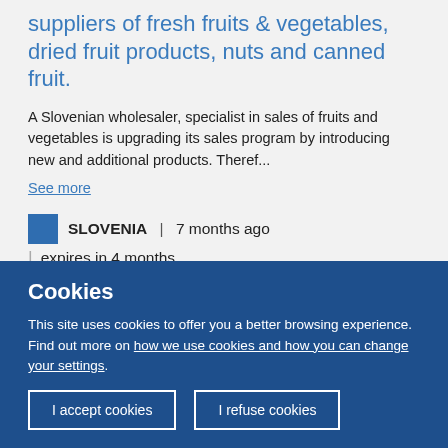suppliers of fresh fruits & vegetables, dried fruit products, nuts and canned fruit.
A Slovenian wholesaler, specialist in sales of fruits and vegetables is upgrading its sales program by introducing new and additional products. Theref...
See more
SLOVENIA | 7 months ago | expires in 4 months
Cookies
This site uses cookies to offer you a better browsing experience. Find out more on how we use cookies and how you can change your settings.
I accept cookies
I refuse cookies